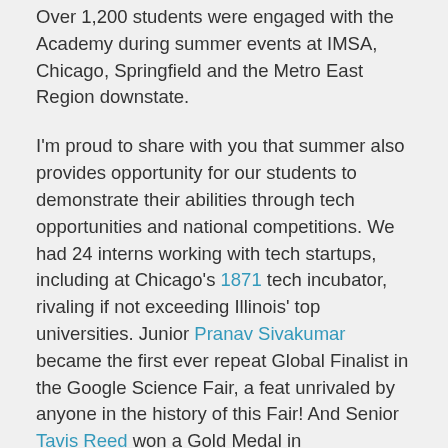Over 1,200 students were engaged with the Academy during summer events at IMSA, Chicago, Springfield and the Metro East Region downstate.
I'm proud to share with you that summer also provides opportunity for our students to demonstrate their abilities through tech opportunities and national competitions. We had 24 interns working with tech startups, including at Chicago's 1871 tech incubator, rivaling if not exceeding Illinois' top universities. Junior Pranav Sivakumar became the first ever repeat Global Finalist in the Google Science Fair, a feat unrivaled by anyone in the history of this Fair! And Senior Tavis Reed won a Gold Medal in chemistry/biochemistry for his work on bioethanol production at the NAACP's Afro-Academic, Cultural, Technological and Scientific Olympics.
We began this Academic Year with great energy after an incredible summer of accomplishments. In mid-August, we welcomed our residential students back to campus